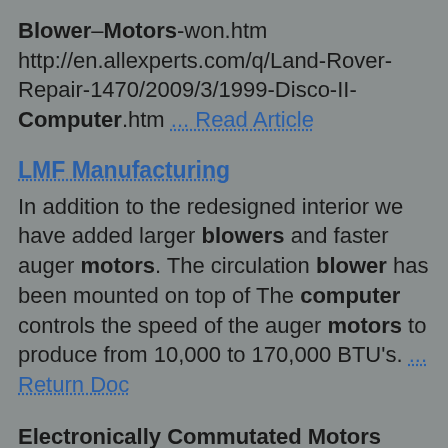Blower–Motors-won.htm http://en.allexperts.com/q/Land-Rover-Repair-1470/2009/3/1999-Disco-II-Computer.htm ... Read Article
LMF Manufacturing
In addition to the redesigned interior we have added larger blowers and faster auger motors. The circulation blower has been mounted on top of The computer controls the speed of the auger motors to produce from 10,000 to 170,000 BTU's. ... Return Doc
Electronically Commutated Motors